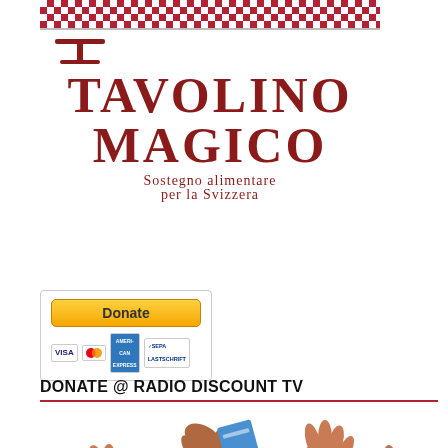[Figure (logo): Tavolino Magico logo with red-white checkered banner, table icon, large red text 'TAVOLINO MAGICO', and subtitle 'Sostegno alimentare per la Svizzera']
[Figure (illustration): PayPal Donate button with payment icons: Visa, Mastercard, American Express, SEPA]
DONATE @ RADIO DISCOUNT TV
[Figure (illustration): Illustration of hands donating: one hand holding paper money (green bill), one hand reaching for a coin, one hand pressing a coin button, one hand holding a card swiper with a coin]